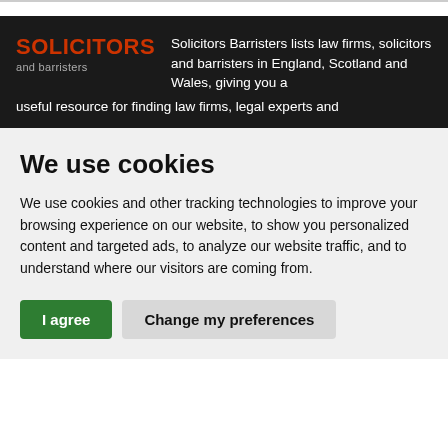SOLICITORS and barristers — Solicitors Barristers lists law firms, solicitors and barristers in England, Scotland and Wales, giving you a useful resource for finding law firms, legal experts and
We use cookies
We use cookies and other tracking technologies to improve your browsing experience on our website, to show you personalized content and targeted ads, to analyze our website traffic, and to understand where our visitors are coming from.
I agree | Change my preferences